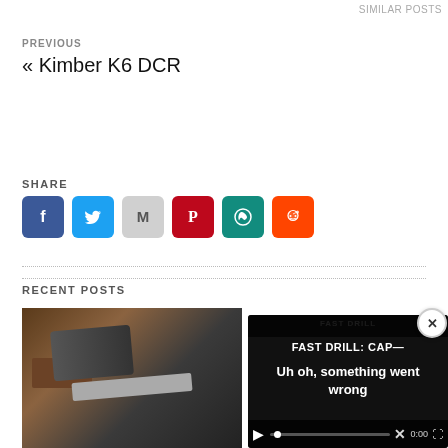SIMILAR POSTS
PREVIOUS
« Kimber K6 DCR
SHARE
[Figure (infographic): Social share buttons: Facebook, Twitter, Gmail, Pinterest, WhatsApp, Reddit]
RECENT POSTS
[Figure (photo): Close-up photo of a firearm part on a wooden surface]
[Figure (screenshot): Video player overlay showing 'FAST DRILL: CAP—' title and 'Uh oh, something went wrong' error message with playback controls at 0:00]